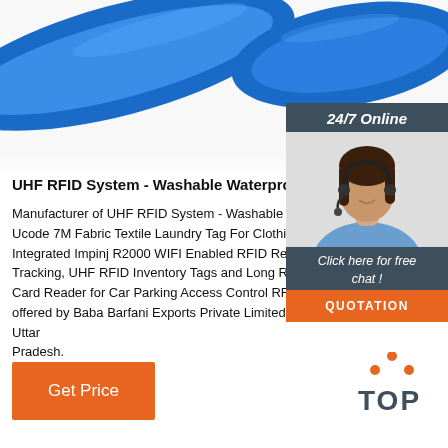[Figure (photo): Blue silicone RFID wristband on white background]
UHF RFID System - Washable Waterproof UHF Uco
Manufacturer of UHF RFID System - Washable Waterproof UHF Ucode 7M Fabric Textile Laundry Tag For Clothing Tracking, Integrated Impinj R2000 WIFI Enabled RFID Reader for Tracking, UHF RFID Inventory Tags and Long Range RFID Card Reader for Car Parking Access Control RFID products offered by Baba Barfani Exports Private Limited, Noida, Uttar Pradesh.
[Figure (photo): Customer service agent with headset - 24/7 Online support widget with dark background, Click here for free chat button, and QUOTATION button in orange]
[Figure (illustration): TOP icon with orange dots above the text]
Get Price